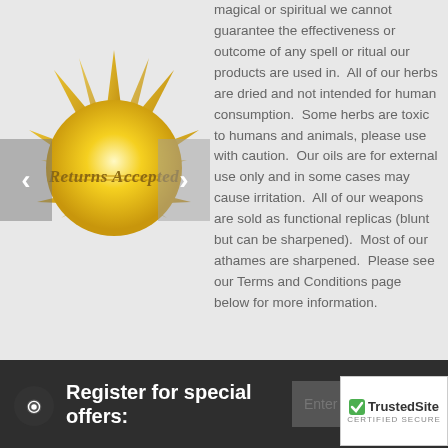[Figure (illustration): Gold sun burst graphic with 'Returns Accepted' text overlaid, on a light gray textured background. Navigation arrows (< >) on left and right edges.]
magical or spiritual we cannot guarantee the effectiveness or outcome of any spell or ritual our products are used in.  All of our herbs are dried and not intended for human consumption.  Some herbs are toxic to humans and animals, please use with caution.  Our oils are for external use only and in some cases may cause irritation.  All of our weapons are sold as functional replicas (blunt but can be sharpened).  Most of our athames are sharpened.  Please see our Terms and Conditions page below for more information.
Register for special offers:
[Figure (logo): TrustedSite CERTIFIED SECURE badge with green checkmark]